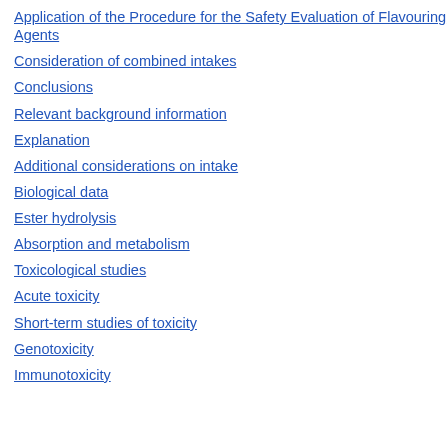Application of the Procedure for the Safety Evaluation of Flavouring Agents
Consideration of combined intakes
Conclusions
Relevant background information
Explanation
Additional considerations on intake
Biological data
Ester hydrolysis
Absorption and metabolism
Toxicological studies
Acute toxicity
Short-term studies of toxicity
Genotoxicity
Immunotoxicity